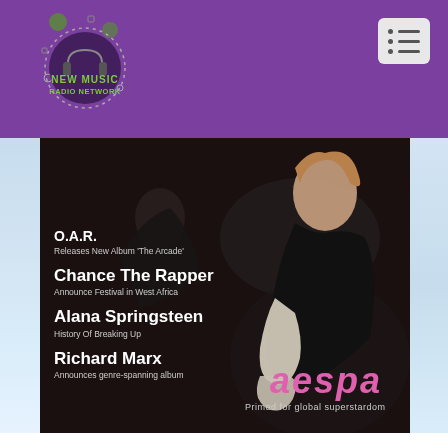NEW MUSIC RADIO NETWORK
[Figure (illustration): New Music Radio Network logo: circular design with headphone graphic, green text on purple background]
[Figure (photo): Main editorial image featuring an aespa member in black outfit with white gloves seated on dark surface, with music news headlines overlaid on left side and aespa pink logo on right, with tagline 'Primed for global superstardom'. News items: O.A.R. Releases New Album 'The Arcade'; Chance The Rapper Announce Festival in West Africa; Alana Springsteen History Of Breaking Up; Richard Marx Announces genre-spanning album]
O.A.R.
Releases New Album 'The Arcade'
Chance The Rapper
Announce Festival in West Africa
Alana Springsteen
History Of Breaking Up
Richard Marx
Announces genre-spanning album
aespa — Primed for global superstardom